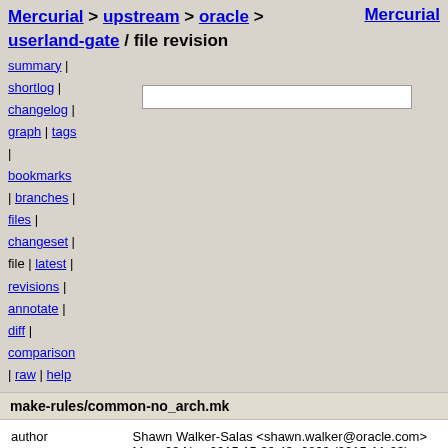Mercurial > upstream > oracle > userland-gate / file revision   Mercurial
summary |
shortlog |
changelog |
graph | tags
| bookmarks
| branches |
files |
changeset |
file | latest |
revisions |
annotate |
diff |
comparison
| raw | help
make-rules/common-no_arch.mk
| field | value |
| --- | --- |
| author | Shawn Walker-Salas <shawn.walker@oracle.com> |
|  | Mon, 23 Nov 2015 15:33:43 -0800 (2015-11-23) |
| changeset 5125 | 34cc580c62c2 |
| permissions | -rw-r--r-- |
21029732 PKG_CONFIG_PATH should be included in CONFIGURE_ENV
21029735 shared-macros should define service manifest and me
21093823 sample-manifest should omit or comment "standard"